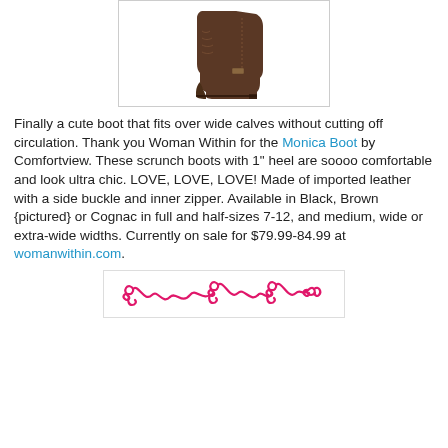[Figure (photo): Brown leather scrunch ankle boot with low heel, shown against white background inside a light gray bordered box.]
Finally a cute boot that fits over wide calves without cutting off circulation. Thank you Woman Within for the Monica Boot by Comfortview. These scrunch boots with 1" heel are soooo comfortable and look ultra chic. LOVE, LOVE, LOVE! Made of imported leather with a side buckle and inner zipper. Available in Black, Brown {pictured} or Cognac in full and half-sizes 7-12, and medium, wide or extra-wide widths. Currently on sale for $79.99-84.99 at womanwithin.com.
[Figure (illustration): Decorative pink/magenta swirly scroll divider line.]